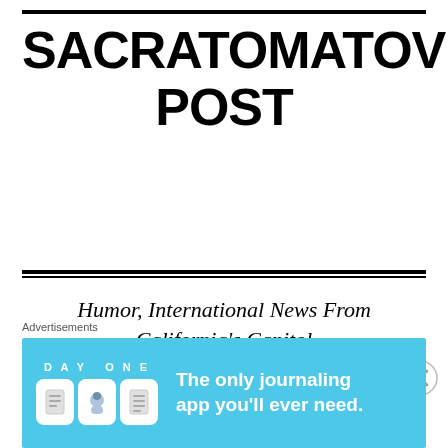SACRATOMATOVILLE POST
Humor, International News From California's Capitol City
Tag: Tea Party
Advertisements
[Figure (screenshot): Day One journaling app advertisement banner with blue background. Shows 'DAY ONE' text, app icons, and tagline 'The only journaling app you'll ever need.']